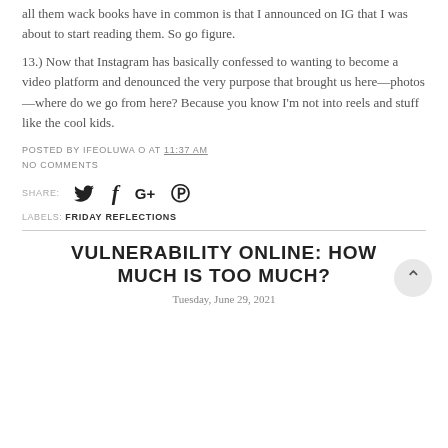all them wack books have in common is that I announced on IG that I was about to start reading them. So go figure.
13.) Now that Instagram has basically confessed to wanting to become a video platform and denounced the very purpose that brought us here—photos—where do we go from here? Because you know I'm not into reels and stuff like the cool kids.
POSTED BY IFEOLUWA O AT 11:37 AM
NO COMMENTS
SHARE:
LABELS: FRIDAY REFLECTIONS
VULNERABILITY ONLINE: HOW MUCH IS TOO MUCH?
Tuesday, June 29, 2021